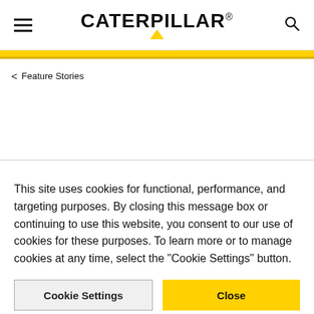CATERPILLAR®
< Feature Stories
This site uses cookies for functional, performance, and targeting purposes. By closing this message box or continuing to use this website, you consent to our use of cookies for these purposes. To learn more or to manage cookies at any time, select the "Cookie Settings" button.
Cookie Settings | Close